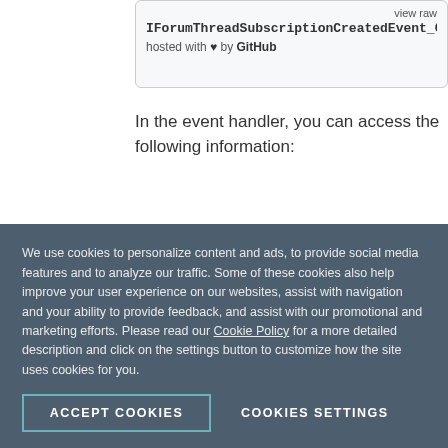[Figure (screenshot): Code snippet box showing partial filename 'IForumThreadSubscriptionCreatedEvent_Gi...' with 'view raw' link and 'hosted with ♥ by GitHub' footer]
In the event handler, you can access the following information:
The UserId of the currently logged in user (subscriber)
The date when the subscription was created
The name of the user provider, in
We use cookies to personalize content and ads, to provide social media features and to analyze our traffic. Some of these cookies also help improve your user experience on our websites, assist with navigation and your ability to provide feedback, and assist with our promotional and marketing efforts. Please read our Cookie Policy for a more detailed description and click on the settings button to customize how the site uses cookies for you.